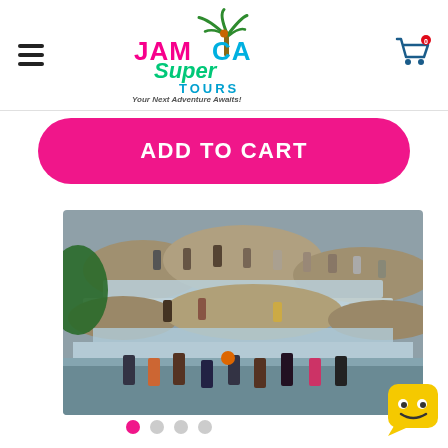[Figure (logo): Jamaica Super Tours logo with palm tree, colorful text and tagline 'Your Next Adventure Awaits!']
ADD TO CART
[Figure (photo): Tourists climbing and standing around Dunn's River Falls in Jamaica, multi-tiered waterfall with people in swimwear]
[Figure (other): Image carousel navigation dots: 4 dots, first one active (pink), rest gray]
[Figure (illustration): Yellow smiley face chatbot widget in bottom right corner]